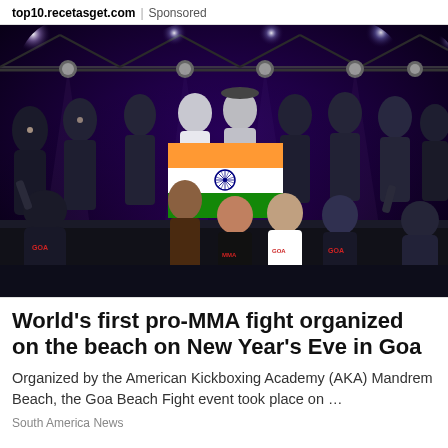top10.recetasget.com | Sponsored
[Figure (photo): Group photo of MMA fighters at Goa Beach Fight event, holding Indian flag, standing and sitting on a stage with dramatic purple and blue lighting and spotlights above them]
World's first pro-MMA fight organized on the beach on New Year's Eve in Goa
Organized by the American Kickboxing Academy (AKA) Mandrem Beach, the Goa Beach Fight event took place on …
South America News